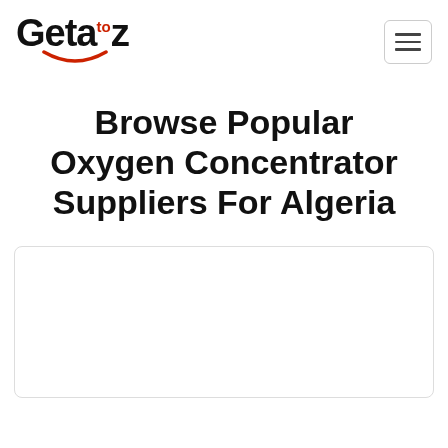Geta to z [logo with hamburger menu]
Browse Popular Oxygen Concentrator Suppliers For Algeria
[Figure (other): White card/box area at the bottom of the page, bordered with light gray rounded rectangle, content area empty/loading]